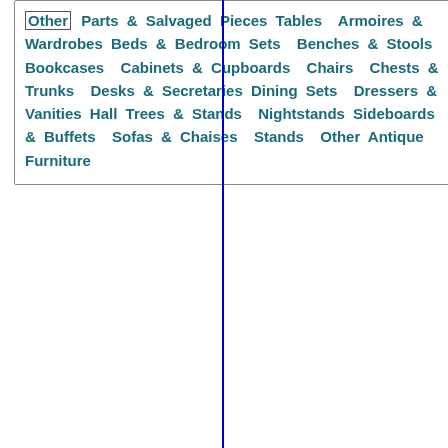Other Parts & Salvaged Pieces Tables Armoires & Wardrobes Beds & Bedroom Sets Benches & Stools Bookcases Cabinets & Cupboards Chairs Chests & Trunks Desks & Secretaries Dining Sets Dressers & Vanities Hall Trees & Stands Nightstands Sideboards & Buffets Sofas & Chaises Stands Other Antique Furniture